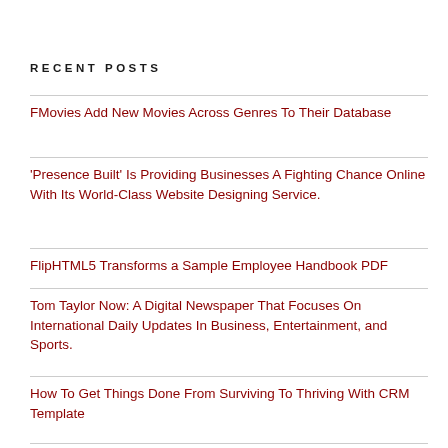RECENT POSTS
FMovies Add New Movies Across Genres To Their Database
'Presence Built' Is Providing Businesses A Fighting Chance Online With Its World-Class Website Designing Service.
FlipHTML5 Transforms a Sample Employee Handbook PDF
Tom Taylor Now: A Digital Newspaper That Focuses On International Daily Updates In Business, Entertainment, and Sports.
How To Get Things Done From Surviving To Thriving With CRM Template